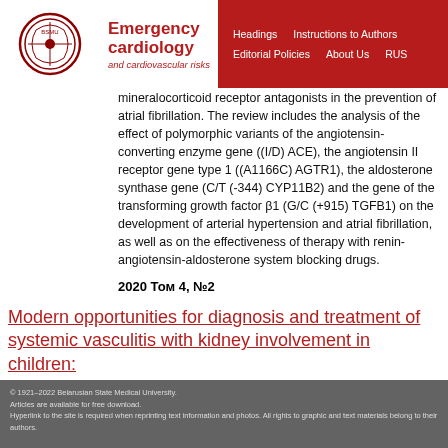Emergency cardiology and cardiovascular risks | Headings | Instructions to Authors | Editorial Policies | About Us | RUS
mineralocorticoid receptor antagonists in the prevention of atrial fibrillation. The review includes the analysis of the effect of polymorphic variants of the angiotensin-converting enzyme gene ((I/D) ACE), the angiotensin II receptor gene type 1 ((A1166C) AGTR1), the aldosterone synthase gene (C/T (-344) CYP11B2) and the gene of the transforming growth factor β1 (G/C (+915) TGFB1) on the development of arterial hypertension and atrial fibrillation, as well as on the effectiveness of therapy with renin-angiotensin-aldosterone system blocking drugs.
2020 Том 4, №2
Modern opportunities for diagnosis and treatment of systemic vasculitis with kidney involvement in children:
a systematic review data (part 2)
© 1921–2022 Belarusian State Medical University.
Articles are available for free download.
Hyperlink to the site is required when reprinting text information and photos. All rights to graphic and text materials belong to their authors.